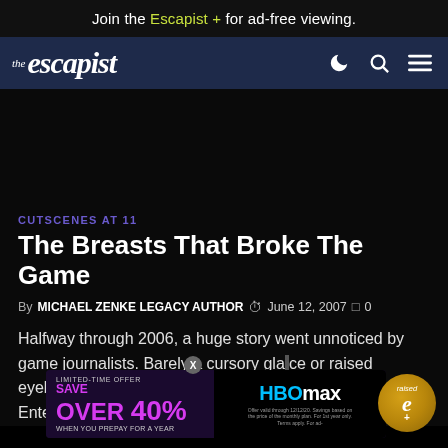Join the Escapist + for ad-free viewing.
[Figure (logo): The Escapist website navigation bar with logo and icons for dark mode, search, and menu]
CUTSCENES AT 11
The Breasts That Broke The Game
By MICHAEL ZENKE LEGACY AUTHOR  June 12, 2007  0
Halfway through 2006, a huge story went unnoticed by game journalists. Barely a cursory glance or raised eyebrow marked the announcement that the Entertainment…tly changed